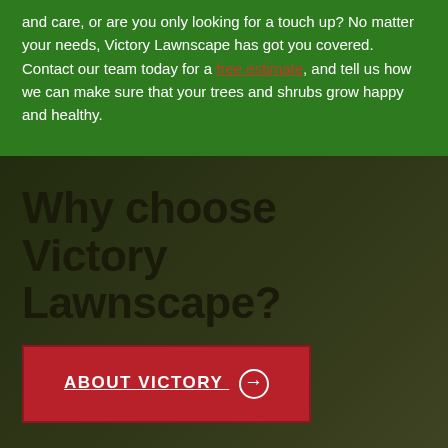and care, or are you only looking for a touch up? No matter your needs, Victory Lawnscape has got you covered. Contact our team today for a free estimate, and tell us how we can make sure that your trees and shrubs grow happy and healthy.
Why choose Victory Lawnscape?
ABOUT VICTORY →
Here at Victory Lawnscape, our name means everything and we don't take that lightly. We are Southeastern Michigan's premier residential lawn maintenance service company, weekly mowing, and lawn fertilization program provider. We take pride in our impeccable attention to detail and our promise to provide the best customer